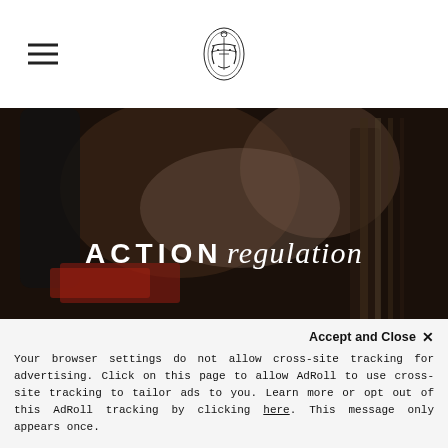[Figure (screenshot): Website header with hamburger menu icon on the left and an ornate lyre/anchor logo in the center on white background]
[Figure (photo): Close-up blurred photo of piano action mechanism parts in dark tones with text overlay reading ACTION regulation]
[Figure (photo): Close-up blurred photo of piano interior showing wooden parts and red felt in warm golden-brown tones]
Accept and Close ✕
Your browser settings do not allow cross-site tracking for advertising. Click on this page to allow AdRoll to use cross-site tracking to tailor ads to you. Learn more or opt out of this AdRoll tracking by clicking here. This message only appears once.